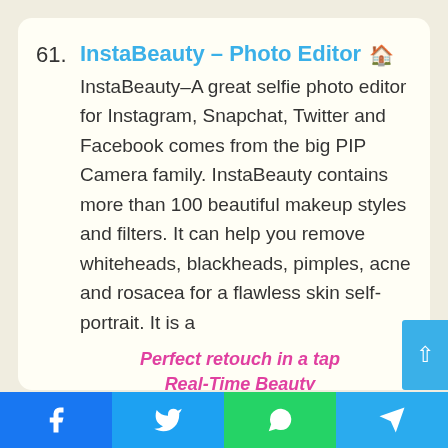61. InstaBeauty – Photo Editor
InstaBeauty–A great selfie photo editor for Instagram, Snapchat, Twitter and Facebook comes from the big PIP Camera family. InstaBeauty contains more than 100 beautiful makeup styles and filters. It can help you remove whiteheads, blackheads, pimples, acne and rosacea for a flawless skin self-portrait. It is a
[Figure (illustration): Screenshot of InstaBeauty app showing 'Perfect retouch in a tap – Real-Time Beauty' text in pink, with two side-by-side female face photos showing before/after beauty filter effects.]
Facebook | Twitter | WhatsApp | Telegram